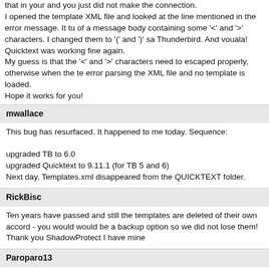that in your and you just did not make the connection.
I opened the template XML file and looked at the line mentioned in the error message. It tu of a message body containing some '<' and '>' characters. I changed them to '(' and ')' sa Thunderbird. And vouala! Quicktext was working fine again.
My guess is that the '<' and '>' characters need to escaped properly, otherwise when the te error parsing the XML file and no template is loaded.
Hope it works for you!
mwallace
This bug has resurfaced. It happened to me today. Sequence:

upgraded TB to 6.0
upgraded Quicktext to 9.11.1 (for TB 5 and 6)
Next day, Templates.xml disappeared from the QUICKTEXT folder.
RickBisc
Ten years have passed and still the templates are deleted of their own accord - you would would be a backup option so we did not lose them! Thank you ShadowProtect I have mine
Paroparo13
I have 2 problems as described below, which I think is the same symptom as mwallace, ar due to the failure in recognition of templates.xml file by Thunderbird/Quicktext.

1) Imported templates not normally displayed in Quicktext setting
When the template is imported from the copy of templates.xml file, nothing shows up in the the setting. Interestingly, however, I can now see the slide bar and if I click the "Title" colum shown), now the contents of the templates are shown in the "Template" column on the righ templates are imported but not correctly displayed.

2) Templates cannot be saved:
The imported templates cannot be saved as save button does not work in the setting. Whe forcefully closed, a dialog window to ask whether it should be saved or not shows up. Ever closed, no templates are seen when reopen the Quicktext setting window. Interestingly, th